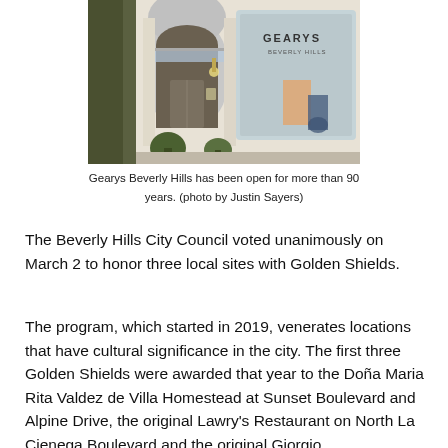[Figure (photo): Exterior photo of Gearys Beverly Hills storefront showing arched entrance, columns, glass canopy, and window display with 'GEARYS' signage visible.]
Gearys Beverly Hills has been open for more than 90 years. (photo by Justin Sayers)
The Beverly Hills City Council voted unanimously on March 2 to honor three local sites with Golden Shields.
The program, which started in 2019, venerates locations that have cultural significance in the city. The first three Golden Shields were awarded that year to the Doña Maria Rita Valdez de Villa Homestead at Sunset Boulevard and Alpine Drive, the original Lawry's Restaurant on North La Cienega Boulevard and the original Giorgio